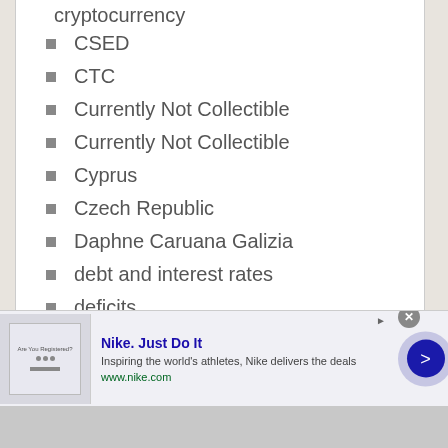cryptocurrency
CSED
CTC
Currently Not Collectible
Currently Not Collectible
Cyprus
Czech Republic
Daphne Caruana Galizia
debt and interest rates
deficits
degrowth
Democracy and institutions
Denmark
[Figure (screenshot): Nike advertisement banner: 'Nike. Just Do It' with tagline 'Inspiring the world's athletes, Nike delivers the deals' and URL www.nike.com, with a close button and navigation arrow]